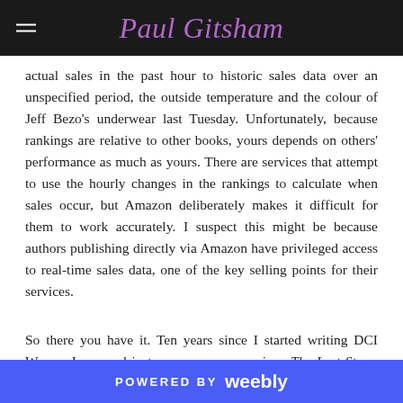Paul Gitsham
actual sales in the past hour to historic sales data over an unspecified period, the outside temperature and the colour of Jeff Bezo's underwear last Tuesday. Unfortunately, because rankings are relative to other books, yours depends on others' performance as much as yours. There are services that attempt to use the hourly changes in the rankings to calculate when sales occur, but Amazon deliberately makes it difficult for them to work accurately. I suspect this might be because authors publishing directly via Amazon have privileged access to real-time sales data, one of the key selling points for their services.
So there you have it. Ten years since I started writing DCI Warren Jones and just over seven years since The Last Straw was published. A further ten novels and novellas have since